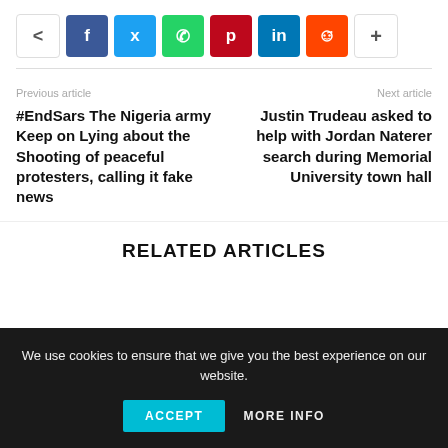[Figure (infographic): Social share bar with icons: share, Facebook, Twitter, WhatsApp, Pinterest, LinkedIn, Reddit, more]
Previous article
#EndSars The Nigeria army Keep on Lying about the Shooting of peaceful protesters, calling it fake news
Next article
Justin Trudeau asked to help with Jordan Naterer search during Memorial University town hall
RELATED ARTICLES
We use cookies to ensure that we give you the best experience on our website.
ACCEPT   MORE INFO